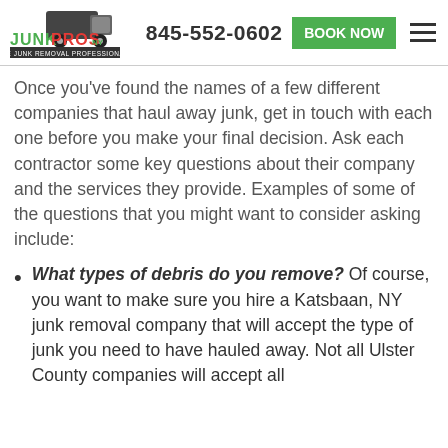845-552-0602 | BOOK NOW
Once you've found the names of a few different companies that haul away junk, get in touch with each one before you make your final decision. Ask each contractor some key questions about their company and the services they provide. Examples of some of the questions that you might want to consider asking include:
What types of debris do you remove? Of course, you want to make sure you hire a Katsbaan, NY junk removal company that will accept the type of junk you need to have hauled away. Not all Ulster County companies will accept all